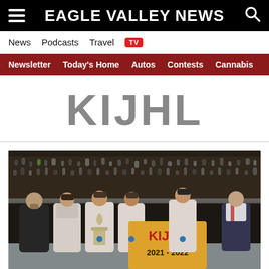EAGLE VALLEY NEWS
News  Podcasts  Travel  TV
Newsletter  Today's Home  Autos  Contests  Cannabis
KIJHL
[Figure (photo): Hockey players and officials celebrating on ice, holding a trophy and a KIJHL 2021-2022 championship banner, with a crowd visible in the background stands.]